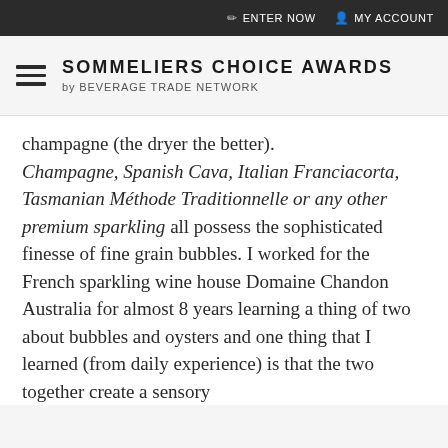ENTER NOW  MY ACCOUNT
SOMMELIERS CHOICE AWARDS by BEVERAGE TRADE NETWORK
champagne (the dryer the better). Champagne, Spanish Cava, Italian Franciacorta, Tasmanian Méthode Traditionnelle or any other premium sparkling all possess the sophisticated finesse of fine grain bubbles. I worked for the French sparkling wine house Domaine Chandon Australia for almost 8 years learning a thing of two about bubbles and oysters and one thing that I learned (from daily experience) is that the two together create a sensory